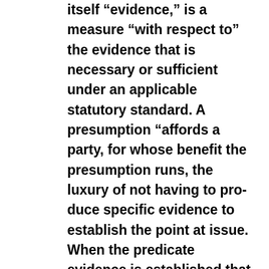itself “evi­dence,” is a measure “with respect to” the evidence that is necessary or sufficient under an applicable statutory standard. A presumption “affords a party, for whose bene­fit the presumption runs, the luxury of not having to pro­duce specific evidence to establish the point at issue. When the predicate evidence is established that triggers the pre­sumption, the further evidentiary gap